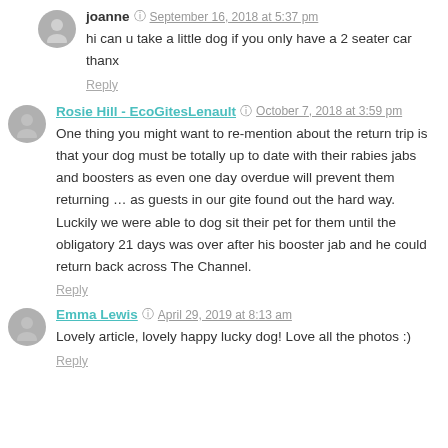joanne — September 16, 2018 at 5:37 pm
hi can u take a little dog if you only have a 2 seater car thanx
Reply
Rosie Hill - EcoGitesLenault — October 7, 2018 at 3:59 pm
One thing you might want to re-mention about the return trip is that your dog must be totally up to date with their rabies jabs and boosters as even one day overdue will prevent them returning … as guests in our gite found out the hard way. Luckily we were able to dog sit their pet for them until the obligatory 21 days was over after his booster jab and he could return back across The Channel.
Reply
Emma Lewis — April 29, 2019 at 8:13 am
Lovely article, lovely happy lucky dog! Love all the photos :)
Reply